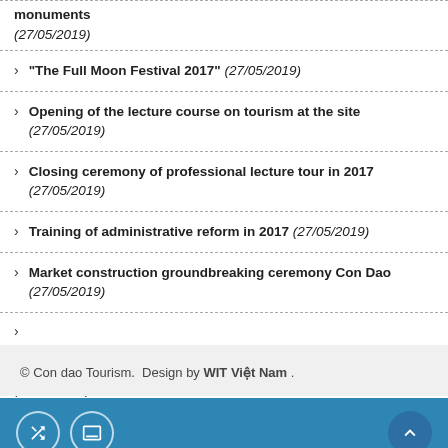monuments (27/05/2019)
"The Full Moon Festival 2017" (27/05/2019)
Opening of the lecture course on tourism at the site (27/05/2019)
Closing ceremony of professional lecture tour in 2017 (27/05/2019)
Training of administrative reform in 2017 (27/05/2019)
Market construction groundbreaking ceremony Con Dao (27/05/2019)
The Department of Tourism opens three training courses in Con Dao (27/05/2019)
Two scenic spots in Con Dao Island (27/05/2019)
© Con dao Tourism. Design by WIT Việt Nam .